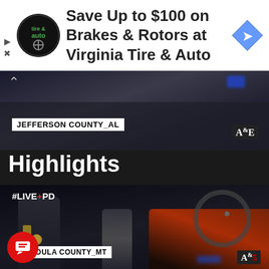[Figure (screenshot): Advertisement banner for Virginia Tire & Auto with circular tire & auto logo, text 'Save Up to $100 on Brakes & Rotors at Virginia Tire & Auto', and a blue diamond navigation arrow icon on the right.]
[Figure (screenshot): Video still from A&E Live PD showing law enforcement in Jefferson County, AL at night with overlay text 'JEFFERSON COUNTY_AL' and A&E logo.]
Highlights
[Figure (screenshot): Video still from A&E #LIVE PD showing an officer talking to a man next to a car with a bicycle on it in Missoula County, MT at night. Overlay text '#LIVE PD', 'MISSOULA COUNTY_MT' and A&E logo. Red chat bubble icon in lower left.]